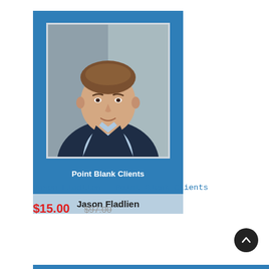[Figure (photo): Product card showing a man in a dark blazer over a light blue shirt against a grey background, inside a blue card frame. Text 'Point Blank Clients' appears on the blue area and 'Jason Fladlien' on a light blue name bar at the bottom.]
Jason Fladlien – Point Blank Clients
$15.00  $97.00